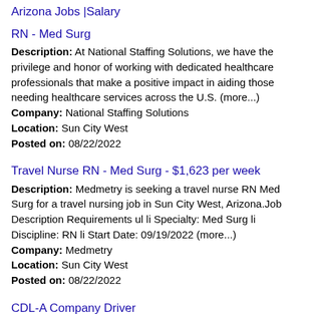Arizona Jobs |Salary
RN - Med Surg
Description: At National Staffing Solutions, we have the privilege and honor of working with dedicated healthcare professionals that make a positive impact in aiding those needing healthcare services across the U.S. (more...) Company: National Staffing Solutions Location: Sun City West Posted on: 08/22/2022
Travel Nurse RN - Med Surg - $1,623 per week
Description: Medmetry is seeking a travel nurse RN Med Surg for a travel nursing job in Sun City West, Arizona.Job Description Requirements ul li Specialty: Med Surg li Discipline: RN li Start Date: 09/19/2022 (more...) Company: Medmetry Location: Sun City West Posted on: 08/22/2022
CDL-A Company Driver
Description: Hiring CDL Company Drivers in Sun City West, AZ. Apply once and choose a trucking job that works for you. Get home when you want to, and get paid what you deserve by